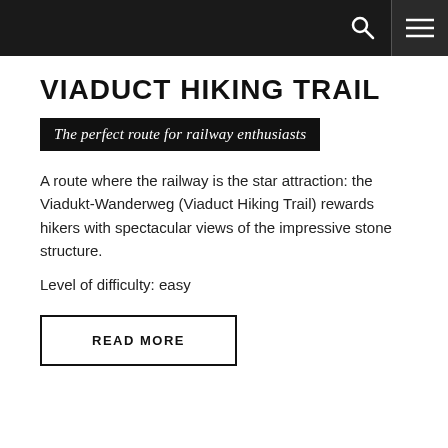VIADUCT HIKING TRAIL
The perfect route for railway enthusiasts
A route where the railway is the star attraction: the Viadukt-Wanderweg (Viaduct Hiking Trail) rewards hikers with spectacular views of the impressive stone structure.
Level of difficulty: easy
READ MORE